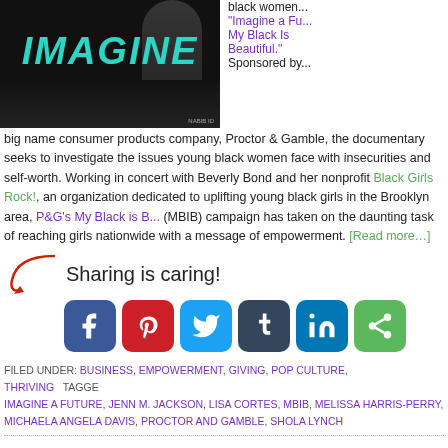[Figure (photo): Black background with 'IMAGINE' text in teal/cyan large italic font, appears to be a documentary or magazine cover]
black women... "Imagine a Fu... My Black Is Beautiful." Sponsored by... big name consumer products company, Proctor & Gamble, the documentary seeks to investigate the issues young black women face with insecurities and self-worth. Working in concert with Beverly Bond and her nonprofit Black Girls Rock!, an organization dedicated to uplifting young black girls in the Brooklyn area, P&G's My Black is B... (MBIB) campaign has taken on the daunting task of reaching girls nationwide with a message of empowerment. [Read more…]
[Figure (infographic): Sharing is caring! social sharing icons for Facebook, Pinterest, Twitter, Tumblr, LinkedIn, and a share button]
FILED UNDER: BUSINESS, EMPOWERMENT, GIVING, POP CULTURE, THRIVING TAGGED: IMAGINE A FUTURE, JENN M. JACKSON, LISA CORTES, MBIB, MELISSA HARRIS-PERRY, MICHAELA ANGELA DAVIS, PROCTOR AND GAMBLE, SHOLA LYNCH
MICHELLE OBAMA GIVES US LIFE!
MAY 12, 2013